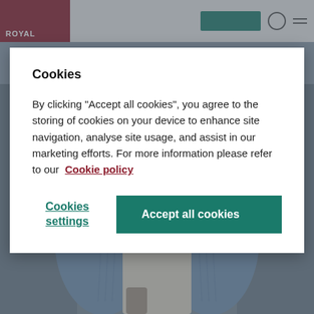[Figure (screenshot): Website header with red ROYAL logo box on left, teal button and icons on right, with a dimmed photo of an elderly person in the background below.]
Cookies
By clicking “Accept all cookies”, you agree to the storing of cookies on your device to enhance site navigation, analyse site usage, and assist in our marketing efforts. For more information please refer to our  Cookie policy
Cookies settings
Accept all cookies